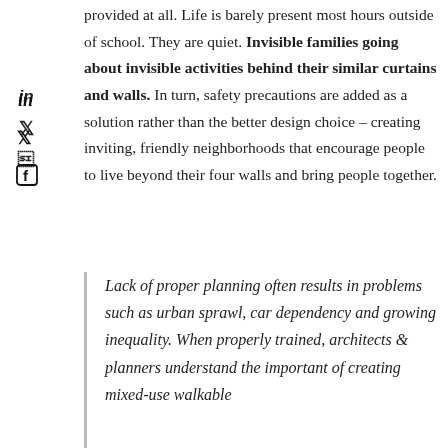provided at all. Life is barely present most hours outside of school. They are quiet. Invisible families going about invisible activities behind their similar curtains and walls. In turn, safety precautions are added as a solution rather than the better design choice – creating inviting, friendly neighborhoods that encourage people to live beyond their four walls and bring people together.
Lack of proper planning often results in problems such as urban sprawl, car dependency and growing inequality. When properly trained, architects & planners understand the important of creating mixed-use walkable neighborhoods, together with the...